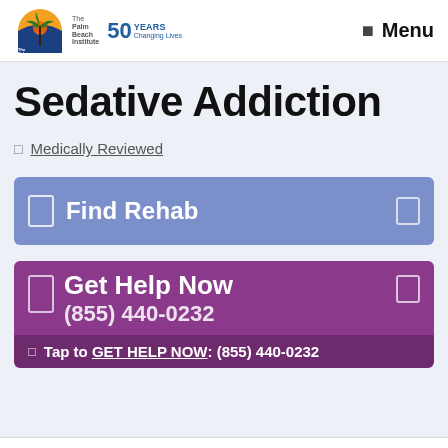The Palm Beach Institute | 50 Years Changing Lives | Menu
Sedative Addiction
☐  Medically Reviewed
Find Rehab
Get Help Now
(855) 440-0232
☐ Tap to GET HELP NOW: (855) 440-0232